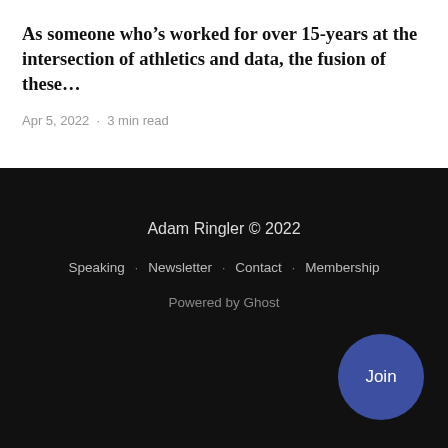As someone who’s worked for over 15-years at the intersection of athletics and data, the fusion of these…
Apr 5, 2022 · 3 min read
Adam Ringler © 2022
Speaking · Newsletter · Contact · Membership
Powered by Ghost